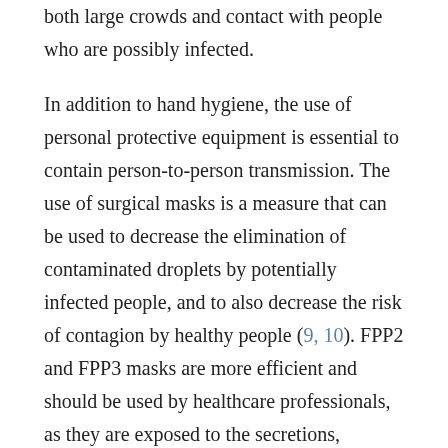both large crowds and contact with people who are possibly infected.
In addition to hand hygiene, the use of personal protective equipment is essential to contain person-to-person transmission. The use of surgical masks is a measure that can be used to decrease the elimination of contaminated droplets by potentially infected people, and to also decrease the risk of contagion by healthy people (9, 10). FPP2 and FPP3 masks are more efficient and should be used by healthcare professionals, as they are exposed to the secretions, droplets and aerosols of people who are sick for long periods (11). The use of disposable gloves, long-sleeved coats and eye protection is also necessary.